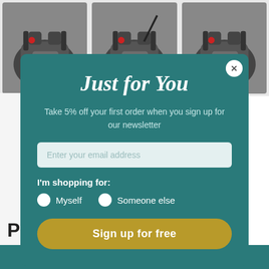[Figure (photo): Three e-bike triangle frame battery packs shown in a row, gray with branding labels and red indicators]
Just for You
Take 5% off your first order when you sign up for our newsletter
Enter your email address
I'm shopping for:
Myself
Someone else
Sign up for free